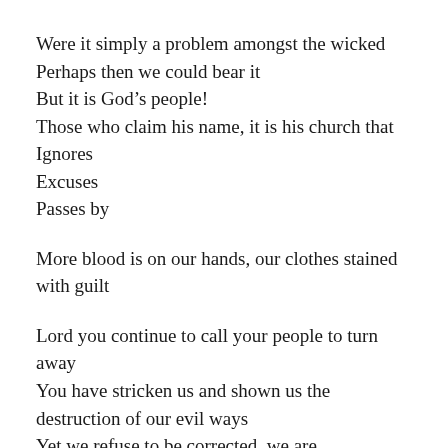Were it simply a problem amongst the wicked
Perhaps then we could bear it
But it is God’s people!
Those who claim his name, it is his church that
Ignores
Excuses
Passes by

More blood is on our hands, our clothes stained
with guilt

Lord you continue to call your people to turn
away
You have stricken us and shown us the
destruction of our evil ways
Yet we refuse to be corrected, we are